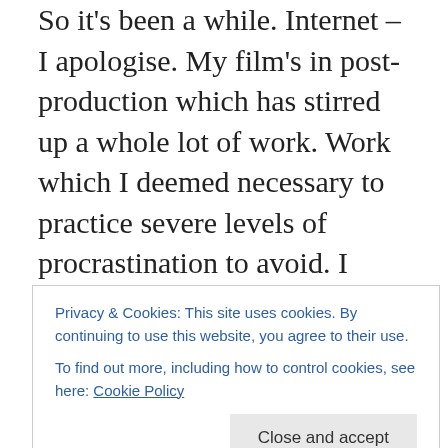So it's been a while. Internet – I apologise. My film's in post-production which has stirred up a whole lot of work. Work which I deemed necessary to practice severe levels of procrastination to avoid. I achieved this (with honours) by completely re-arranging my house. In doing so, and moving a very large wooden cabinet from the kitchen into my bedroom, I discovered the reason why it may have been put there in the first place. A gaping big hole of peeled paint.
Never one to resist a challenge, nor an opportunity to create a collage – particularly when that collage is of the chopping block, I captioned it accordingly. How come
Privacy & Cookies: This site uses cookies. By continuing to use this website, you agree to their use.
To find out more, including how to control cookies, see here: Cookie Policy